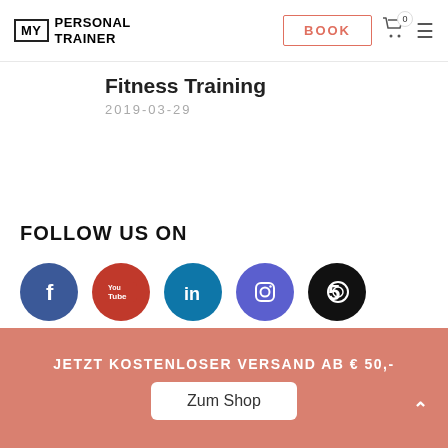MY PERSONAL TRAINER — BOOK — 0 — menu
Fitness Training
2019-03-29
FOLLOW US ON
[Figure (illustration): Five social media icons in colored circles: Facebook (blue), YouTube (red), LinkedIn (teal), Instagram (purple), 500px (black)]
JETZT KOSTENLOSER VERSAND AB € 50,-
Zum Shop